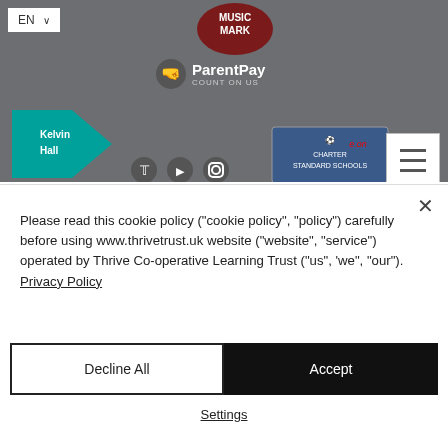[Figure (screenshot): School website header with grey background showing: EN language selector, Music Mark logo (dark red circular badge), ParentPay logo with hand icon and 'COUNT ON US' text, Kelvin Hall school logo (teal/green angular K shape), social media icons (Twitter, YouTube, Instagram), Charter Standard Schools badge, E.ON logo, hamburger menu button]
[Figure (logo): Healthier Options award logo with teal text and red heart icon]
[Figure (logo): Eco-Schools Bronze Award logo with bronze medal and ribbon]
[Figure (screenshot): Partially visible red banner/badge at bottom of awards section]
Please read this cookie policy (“cookie policy”, “policy”) carefully before using www.thrivetrust.uk website (“website”, “service”) operated by Thrive Co-operative Learning Trust (“us”, ‘we”, “our”). Privacy Policy
Decline All
Accept
Settings